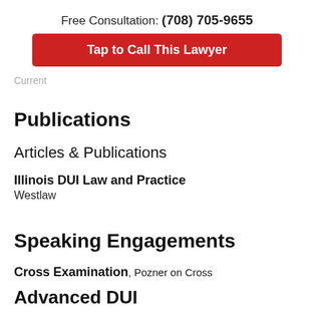Free Consultation: (708) 705-9655
Tap to Call This Lawyer
Current
Publications
Articles & Publications
Illinois DUI Law and Practice
Westlaw
Speaking Engagements
Cross Examination, Pozner on Cross
Advanced DUI